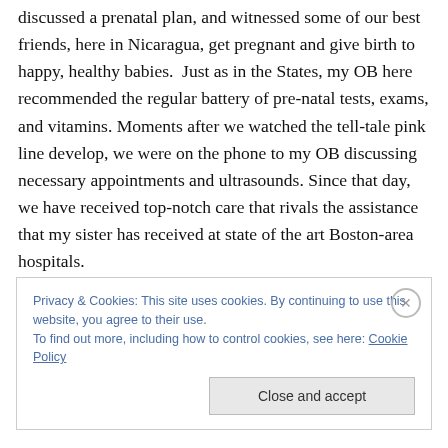discussed a prenatal plan, and witnessed some of our best friends, here in Nicaragua, get pregnant and give birth to happy, healthy babies.  Just as in the States, my OB here recommended the regular battery of pre-natal tests, exams, and vitamins. Moments after we watched the tell-tale pink line develop, we were on the phone to my OB discussing necessary appointments and ultrasounds. Since that day, we have received top-notch care that rivals the assistance that my sister has received at state of the art Boston-area hospitals.
Privacy & Cookies: This site uses cookies. By continuing to use this website, you agree to their use. To find out more, including how to control cookies, see here: Cookie Policy
Close and accept